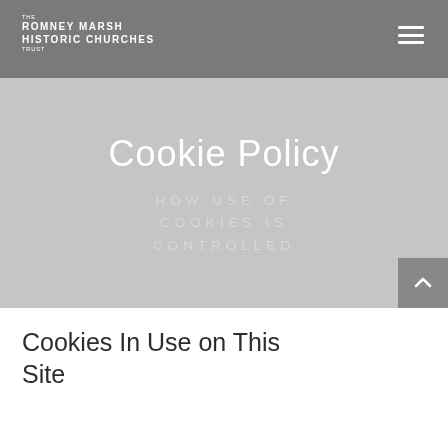THE ROMNEY MARSH HISTORIC CHURCHES TRUST
Cookie Policy
HOW USE OF COOKIES IS CONTROLLED
Cookies In Use on This Site